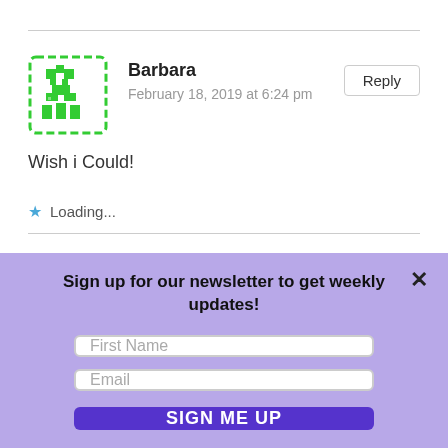[Figure (illustration): Green pixelated avatar icon for user Barbara]
Barbara
February 18, 2019 at 6:24 pm
Reply
Wish i Could!
Loading...
jan jones
Reply
Sign up for our newsletter to get weekly updates!
First Name
Email
SIGN ME UP